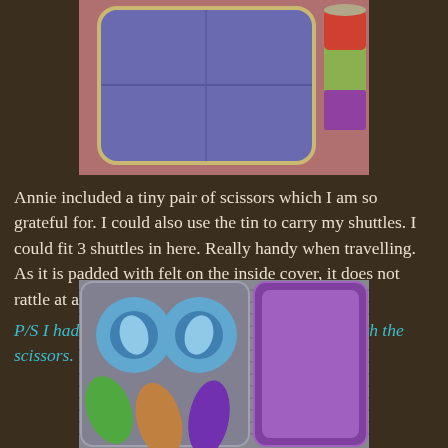[Figure (photo): Close-up photo of an open tin box lined with blue/purple fabric or felt, with a decorative can visible on the right side.]
Annie included a tiny pair of scissors which I am so grateful for. I could also use the tin to carry my shuttles. I could fit 3 shuttles in here. Really handy when travelling. As it is padded with felt on the inside cover, it does not rattle at all.
P/S I had to show you how 3 shuttles fit in here with the scissors.
[Figure (photo): Photo of an open tin box containing 3 tatting shuttles (green, wooden, and purple) and a small pair of scissors, with the purple felt-lined lid visible on the right.]